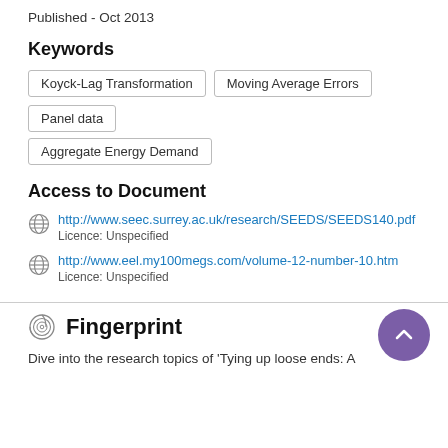Published - Oct 2013
Keywords
Koyck-Lag Transformation
Moving Average Errors
Panel data
Aggregate Energy Demand
Access to Document
http://www.seec.surrey.ac.uk/research/SEEDS/SEEDS140.pdf
Licence: Unspecified
http://www.eel.my100megs.com/volume-12-number-10.htm
Licence: Unspecified
Fingerprint
Dive into the research topics of 'Tying up loose ends: A